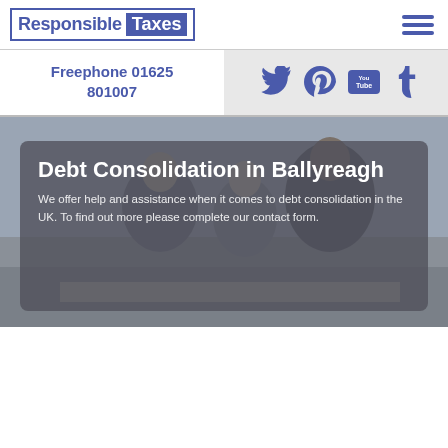Responsible Taxes
Freephone 01625 801007
Debt Consolidation in Ballyreagh
We offer help and assistance when it comes to debt consolidation in the UK. To find out more please complete our contact form.